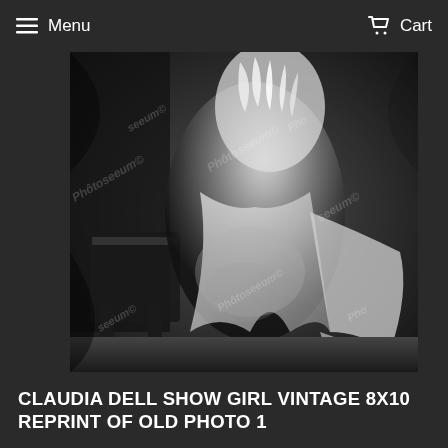Menu   Cart
[Figure (photo): Black and white vintage photograph of Claudia Dell, a showgirl, posed in an elaborate feathered and lace costume, seated and leaning forward. The photo has watermarks reading 'Photoseeum©' repeated diagonally across the image.]
CLAUDIA DELL SHOW GIRL VINTAGE 8X10 REPRINT OF OLD PHOTO 1